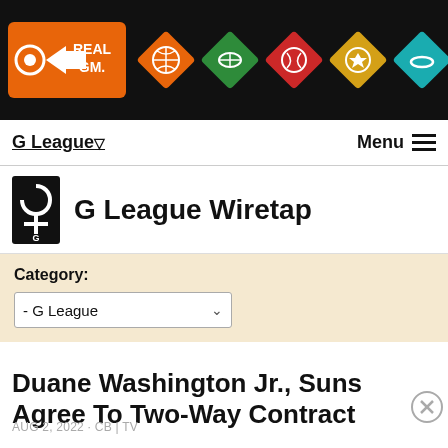RealGM - G League Wiretap navigation header with sport icons
G League ▽   Menu ☰
G League Wiretap
Category: - G League
Duane Washington Jr., Suns Agree To Two-Way Contract
AUG 2, 2022 · CB | TV